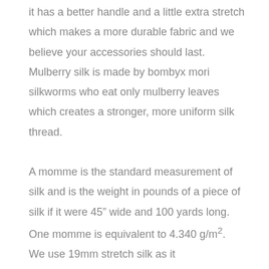it has a better handle and a little extra stretch which makes a more durable fabric and we believe your accessories should last. Mulberry silk is made by bombyx mori silkworms who eat only mulberry leaves which creates a stronger, more uniform silk thread.
A momme is the standard measurement of silk and is the weight in pounds of a piece of silk if it were 45" wide and 100 yards long. One momme is equivalent to 4.340 g/m². We use 19mm stretch silk as it